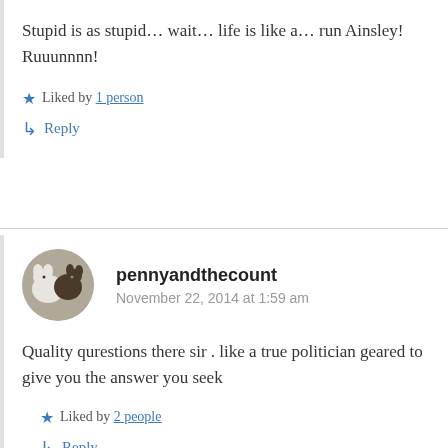Stupid is as stupid… wait… life is like a… run Ainsley! Ruuunnnn!
★ Liked by 1 person
↳ Reply
pennyandthecount
November 22, 2014 at 1:59 am
Quality qurestions there sir . like a true politician geared to give you the answer you seek
★ Liked by 2 people
↳ Reply